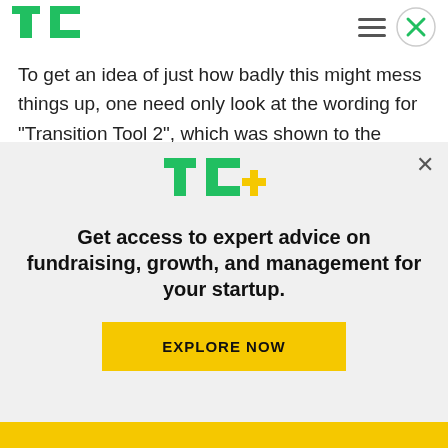[Figure (logo): TechCrunch TC logo in green, top left header]
To get an idea of just how badly this might mess things up, one need only look at the wording for “Transition Tool 2”, which was shown to the press during the conference call (screenshot below). The tool’s heading invites users to update their privacy settings, which is fair enough given that they’re getting totally reworked. But it also says “While
[Figure (logo): TC+ logo with green TC letters and yellow plus sign]
Get access to expert advice on fundraising, growth, and management for your startup.
EXPLORE NOW